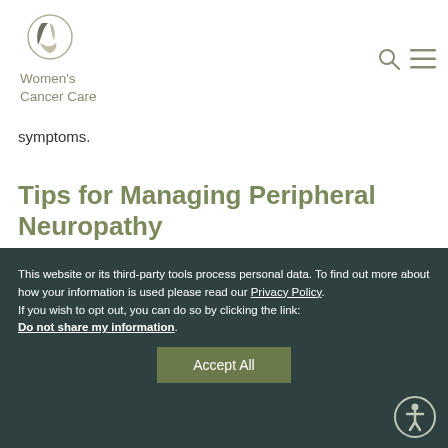[Figure (logo): Women's Cancer Care logo with circular leaf/figure icon in grey and white]
symptoms.
Tips for Managing Peripheral Neuropathy
This website or its third-party tools process personal data. To find out more about how your information is used please read our Privacy Policy. If you wish to opt out, you can do so by clicking the link: Do not share my information.
Accept All